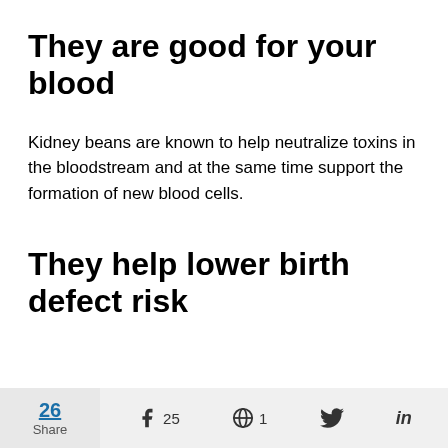They are good for your blood
Kidney beans are known to help neutralize toxins in the bloodstream and at the same time support the formation of new blood cells.
They help lower birth defect risk
26 Share  25  1